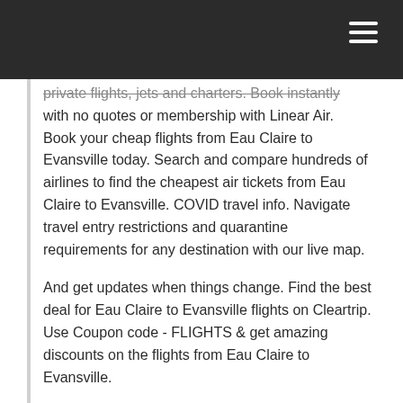private flights, jets and charters. Book instantly with no quotes or membership with Linear Air. Book your cheap flights from Eau Claire to Evansville today. Search and compare hundreds of airlines to find the cheapest air tickets from Eau Claire to Evansville. COVID travel info. Navigate travel entry restrictions and quarantine requirements for any destination with our live map.
And get updates when things change. Find the best deal for Eau Claire to Evansville flights on Cleartrip. Use Coupon code - FLIGHTS & get amazing discounts on the flights from Eau Claire to Evansville.
Why should I buy from Travel Brokers?